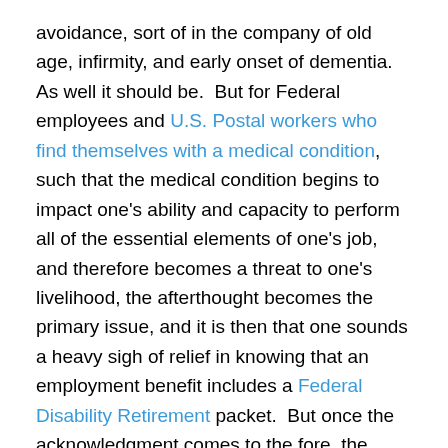avoidance, sort of in the company of old age, infirmity, and early onset of dementia.  As well it should be.  But for Federal employees and U.S. Postal workers who find themselves with a medical condition, such that the medical condition begins to impact one's ability and capacity to perform all of the essential elements of one's job, and therefore becomes a threat to one's livelihood, the afterthought becomes the primary issue, and it is then that one sounds a heavy sigh of relief in knowing that an employment benefit includes a Federal Disability Retirement packet.  But once the acknowledgment comes to the fore, the reality further hits one, that you must prove your case, and it is not merely a matter of entitlement.
Federal Disability Retirement, filed through one's agency if you are not separated for over 31 days, must ultimately arrive at the doors of the U.S. Office of Personnel...